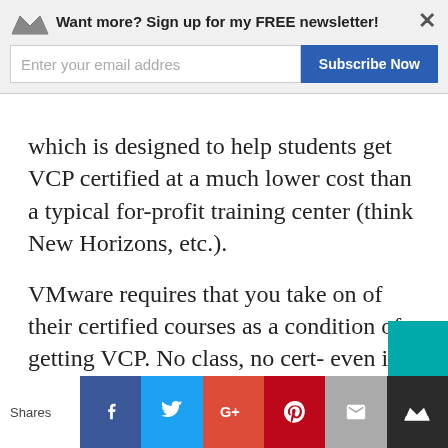[Figure (screenshot): Newsletter subscription banner overlay with crown logo, 'Want more? Sign up for my FREE newsletter!' text, email input field, Subscribe Now button, and close X button]
which is designed to help students get VCP certified at a much lower cost than a typical for-profit training center (think New Horizons, etc.).
VMware requires that you take on of their certified courses as a condition of getting VCP. No class, no cert- even if you pass the test. That’s not necessarily a bad thing- this keeps some barriers of entry in place so the market is not flooded with VCPs, diluting the certification.
[Figure (screenshot): Social share bar at the bottom with Shares label and buttons for Facebook, Twitter, Google+, Pinterest, Email, and crown/bookmark]